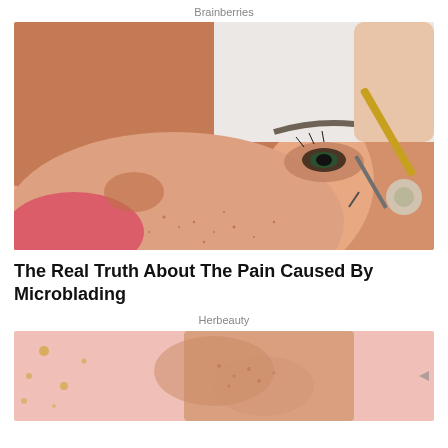Brainberries
[Figure (photo): Close-up of a woman's face being worked on with a microblading tool near the eyebrow area. The woman has freckled skin and red blush, lying sideways. A hand holds a fine metal microblading pen instrument near her eyebrow.]
The Real Truth About The Pain Caused By Microblading
Herbeauty
[Figure (photo): Partial photo of a person's underarm/shoulder area with irritated or bumpy skin against a pink background with gold spots.]